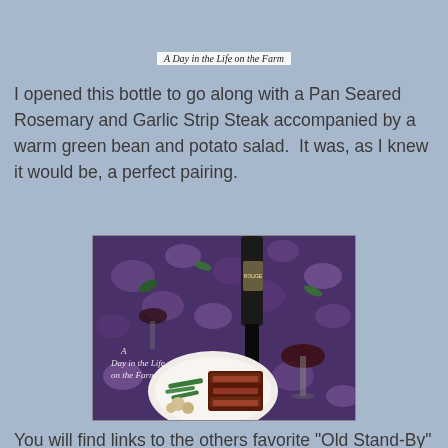[Figure (photo): Photo of a plate with steak, with text overlay 'A Day in the Life on the Farm']
I opened this bottle to go along with a Pan Seared Rosemary and Garlic Strip Steak accompanied by a warm green bean and potato salad.  It was, as I knew it would be, a perfect pairing.
[Figure (photo): Photo of a dinner table setting with a plate of sliced steak, green beans and potatoes, a bottle of wine, and a glass of red wine on a floral tablecloth, with text overlay 'A Day in the Life on the Farm']
You will find links to the others favorite "Old Stand-By" bottles and their pairings directly under my recipe.